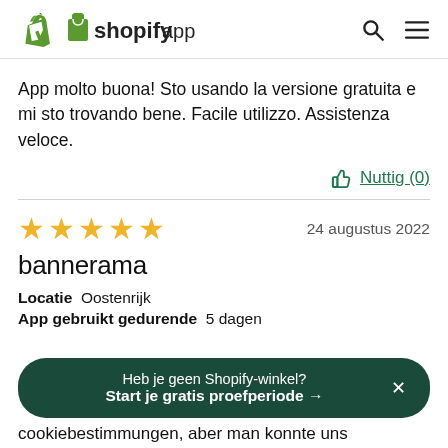shopify app store
App molto buona! Sto usando la versione gratuita e mi sto trovando bene. Facile utilizzo. Assistenza veloce.
Nuttig (0)
★★★★★  24 augustus 2022
bannerama
Locatie  Oostenrijk
App gebruikt gedurende  5 dagen
Heb je geen Shopify-winkel?
Start je gratis proefperiode →
cookiebestimmungen, aber man konnte uns